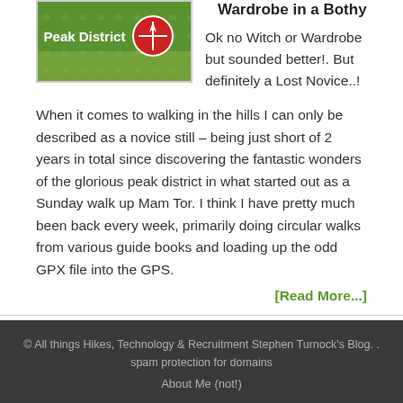[Figure (photo): Thumbnail image showing Peak District text on green background with compass logo]
Wardrobe in a Bothy
Ok no Witch or Wardrobe but sounded better!. But definitely a Lost Novice..!
When it comes to walking in the hills I can only be described as a novice still – being just short of 2 years in total since discovering the fantastic wonders of the glorious peak district in what started out as a Sunday walk up Mam Tor. I think I have pretty much been back every week, primarily doing circular walks from various guide books and loading up the odd GPX file into the GPS.
[Read More...]
© All things Hikes, Technology & Recruitment Stephen Turnock's Blog. . spam protection for domains
About Me (not!)